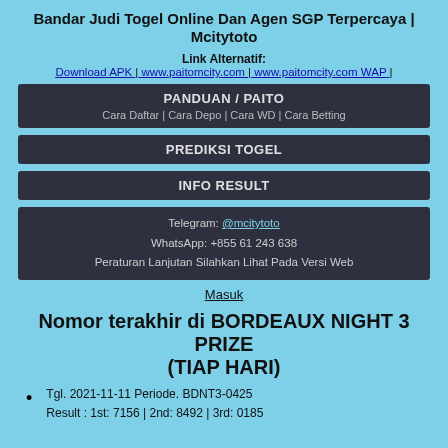Bandar Judi Togel Online Dan Agen SGP Terpercaya | Mcitytoto
Link Alternatif: Download APK | www.paitomcity.com | www.paitomcity.com WAP |
PANDUAN / PAITO
Cara Daftar | Cara Depo | Cara WD | Cara Betting
PREDIKSI TOGEL
INFO RESULT
Telegram: @mcitytoto
WhatsApp: +855 61 243 638
Peraturan Lanjutan Silahkan Lihat Pada Versi Web
Masuk
Nomor terakhir di BORDEAUX NIGHT 3 PRIZE (TIAP HARI)
Tgl. 2021-11-11 Periode. BDNT3-0425
Result : 1st: 7156 | 2nd: 8492 | 3rd: 0185